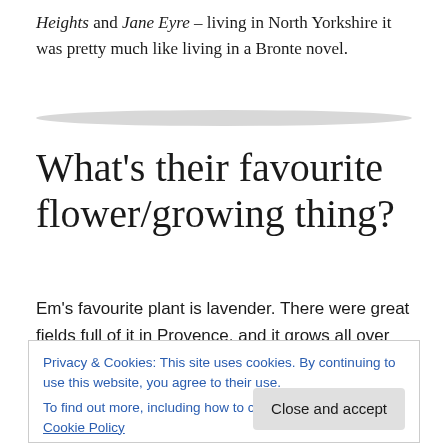Heights and Jane Eyre – living in North Yorkshire it was pretty much like living in a Bronte novel.
[Figure (illustration): Horizontal decorative divider line, light grey elliptical shape]
What's their favourite flower/growing thing?
Em's favourite plant is lavender. There were great fields full of it in Provence, and it grows all over the North Yorkshire moors as well. The colour and pretty scent
Privacy & Cookies: This site uses cookies. By continuing to use this website, you agree to their use.
To find out more, including how to control cookies, see here: Cookie Policy
Close and accept